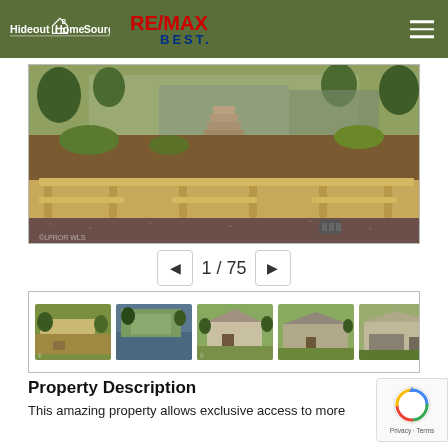Hideout Home Source .com | RE/MAX BEST
[Figure (photo): Exterior photo showing a wooden deck/bench area with gravel landscaping, steps leading up to a building, trees in background]
1 / 75
[Figure (photo): Thumbnail strip showing 5+ property exterior photos]
Property Description
This amazing property allows exclusive access to more